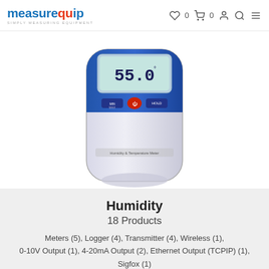MeasureEquip - Simply Measuring Equipment
[Figure (photo): A handheld humidity and temperature meter device with blue and white casing, digital display showing '55.0', buttons labeled MIN/MAX and HOLD, and a red power button. Text on device reads 'Humidity & Temperature Meter'.]
Humidity
18 Products
Meters (5), Logger (4), Transmitter (4), Wireless (1), 0-10V Output (1), 4-20mA Output (2), Ethernet Output (TCPIP) (1), Sigfox (1)
Shop Now